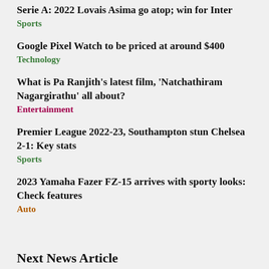Serie A: 2022 Lovais Asima go atop; win for Inter
Sports
Google Pixel Watch to be priced at around $400
Technology
What is Pa Ranjith's latest film, 'Natchathiram Nagargirathu' all about?
Entertainment
Premier League 2022-23, Southampton stun Chelsea 2-1: Key stats
Sports
2023 Yamaha Fazer FZ-15 arrives with sporty looks: Check features
Auto
Next News Article